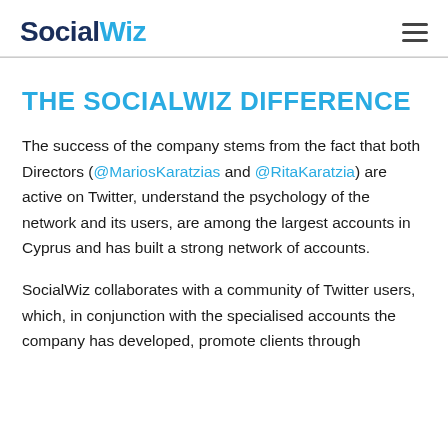SocialWiz
THE SOCIALWIZ DIFFERENCE
The success of the company stems from the fact that both Directors (@MariosKaratzias and @RitaKaratzia) are active on Twitter, understand the psychology of the network and its users, are among the largest accounts in Cyprus and has built a strong network of accounts.
SocialWiz collaborates with a community of Twitter users, which, in conjunction with the specialised accounts the company has developed, promote clients through